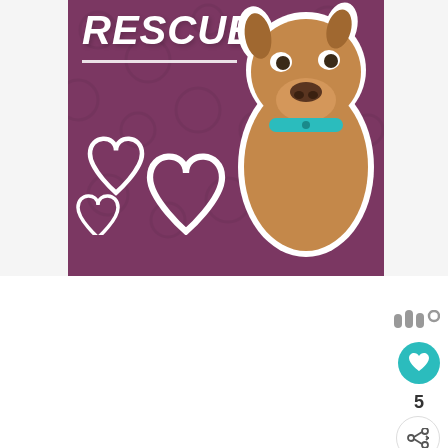[Figure (photo): Screenshot of a webpage showing a dog rescue graphic with a brown pit bull dog on a purple/mauve background with white heart outlines and the text RESCUE in white italic bold letters. UI elements visible include a like button with count of 5, a share button, a teal app icon, a pink TOC button, a 'What's Next' panel showing 'DIY Card Bunting Fro...' article, a cookie consent banner reading 'This website uses cookies', an OKAY button in green, and a MORE INFO button in dark gray.]